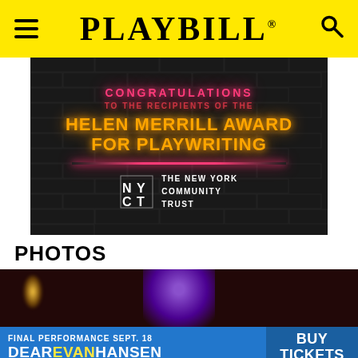PLAYBILL
[Figure (photo): Dark brick wall background advertisement reading: CONGRATULATIONS TO THE RECIPIENTS OF THE HELEN MERRILL AWARD FOR PLAYWRITING, with neon-style text and NYCT (The New York Community Trust) logo.]
PHOTOS
[Figure (photo): Dark stage photo with purple/violet lighting illuminating a performer's head from above against a dark red background.]
[Figure (other): Banner advertisement: FINAL PERFORMANCE SEPT. 18 DEAR EVAN HANSEN BUY TICKETS]